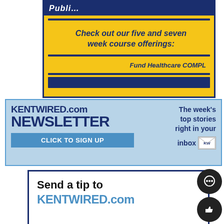[Figure (infographic): Yellow and navy blue advertisement banner. Text reads 'Check out our five and seven week course offerings:' and 'Fund Healthcare COMPL' with blue horizontal bars.]
[Figure (infographic): KentWired.com Newsletter advertisement on light blue background. Shows 'KENTWIRED.com NEWSLETTER' in bold navy text, 'CLICK TO SIGN UP' button in blue, and tagline 'The week's top stories right in your inbox' on the right.]
[Figure (infographic): White box with navy border. Text reads 'Send a tip to KENTWIRED.com' in bold. Two dark circular floating buttons visible on the right side.]